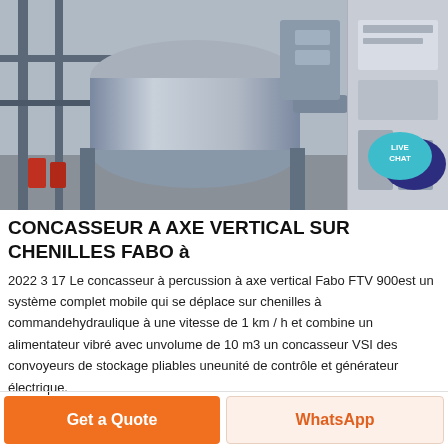[Figure (photo): Industrial machinery — a large rotary drum/crusher on an elevated structure inside a factory/plant building, with scaffolding and steel framework visible.]
CONCASSEUR A AXE VERTICAL SUR CHENILLES FABO à
2022 3 17 Le concasseur à percussion à axe vertical Fabo FTV 900est un système complet mobile qui se déplace sur chenilles à commandehydraulique à une vitesse de 1 km / h et combine un alimentateur vibré avec unvolume de 10 m3 un concasseur VSI des convoyeurs de stockage pliables uneunité de contrôle et générateur électrique.
Obtenir le prix
Get a Quote
WhatsApp